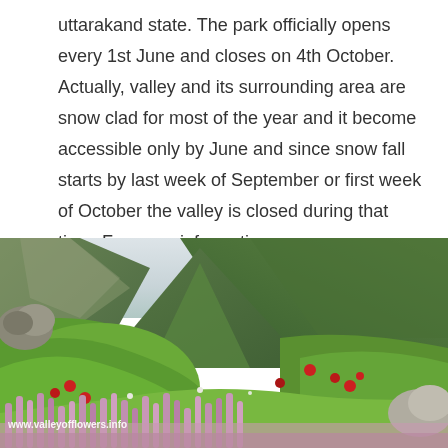uttarakand state. The park officially opens every 1st June and closes on 4th October. Actually, valley and its surrounding area are snow clad for most of the year and it become accessible only by June and since snow fall starts by last week of September or first week of October the valley is closed during that time. For more information
visit: http://www.valleyofflowers.info/
[Figure (photo): Photograph of the Valley of Flowers showing lush green mountain hillsides, red wildflowers scattered on the slopes, pink spike flowers in the foreground, rocky outcrops, and misty/cloudy sky. Watermark reads www.valleyofflowers.info]